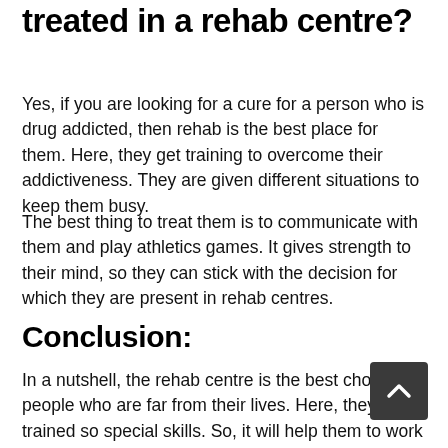treated in a rehab centre?
Yes, if you are looking for a cure for a person who is drug addicted, then rehab is the best place for them. Here, they get training to overcome their addictiveness. They are given different situations to keep them busy.
The best thing to treat them is to communicate with them and play athletics games. It gives strength to their mind, so they can stick with the decision for which they are present in rehab centres.
Conclusion:
In a nutshell, the rehab centre is the best choice for people who are far from their lives. Here, they have trained so special skills. So, it will help them to work in their life. Moreover, they get the strength of body and mind by playing athletics games that are a positive point. It will help them to